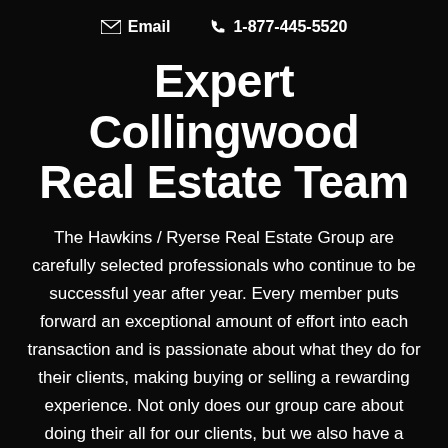✉ Email   ☎ 1-877-445-5520
Expert Collingwood Real Estate Team
The Hawkins / Ryerse Real Estate Group are carefully selected professionals who continue to be successful year after year. Every member puts forward an exceptional amount of effort into each transaction and is passionate about what they do for their clients, making buying or selling a rewarding experience. Not only does our group care about doing their all for our clients, but we also have a passion for giving back and helping our local community. Find out more about each of our exceptional group members below and please